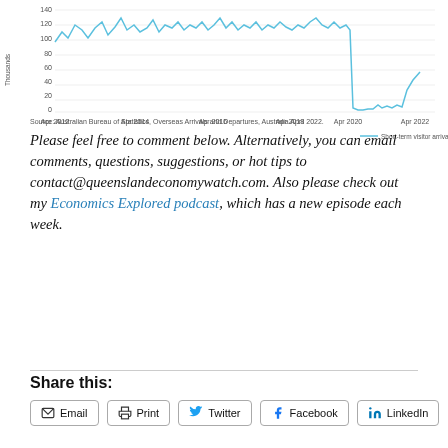[Figure (continuous-plot): Line chart showing short-term visitor arrivals (000s) to Australia from Apr 2012 to Apr 2022. Values fluctuate around 100-140 thousands from 2012-2019, then drop sharply near zero around Apr 2020, remain near zero, and show a slight uptick toward Apr 2022.]
— Short-term visitor arrivals, OBD (000s)
Source: Australian Bureau of Statistics, Overseas Arrivals and Departures, Australia April 2022.
Please feel free to comment below. Alternatively, you can email comments, questions, suggestions, or hot tips to contact@queenslandeconomywatch.com. Also please check out my Economics Explored podcast, which has a new episode each week.
Share this:
Email
Print
Twitter
Facebook
LinkedIn